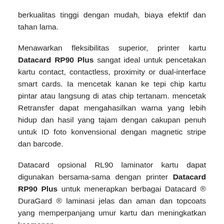berkualitas tinggi dengan mudah, biaya efektif dan tahan lama.
Menawarkan fleksibilitas superior, printer kartu Datacard RP90 Plus sangat ideal untuk pencetakan kartu contact, contactless, proximity or dual-interface smart cards. Ia mencetak kanan ke tepi chip kartu pintar atau langsung di atas chip tertanam. mencetak Retransfer dapat mengahasilkan warna yang lebih hidup dan hasil yang tajam dengan cakupan penuh untuk ID foto konvensional dengan magnetic stripe dan barcode.
Datacard opsional RL90 laminator kartu dapat digunakan bersama-sama dengan printer Datacard RP90 Plus untuk menerapkan berbagai Datacard ® DuraGard ® laminasi jelas dan aman dan topcoats yang memperpanjang umur kartu dan meningkatkan keamanan.